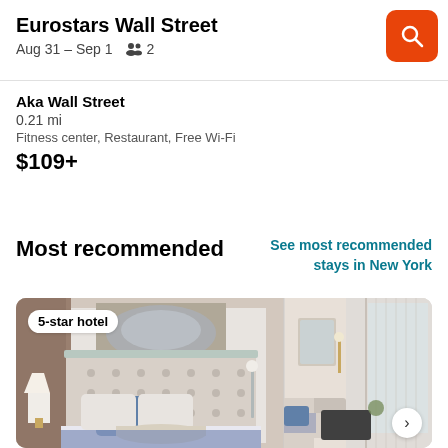Eurostars Wall Street
Aug 31 – Sep 1   👥 2
Aka Wall Street
0.21 mi
Fitness center, Restaurant, Free Wi-Fi
$109+
Most recommended
See most recommended stays in New York
[Figure (photo): Hotel room photo showing a king bed with tufted headboard, blue accent pillows, and a luxury bedroom interior. Split view showing two hotel room angles. Badge reading '5-star hotel'.]